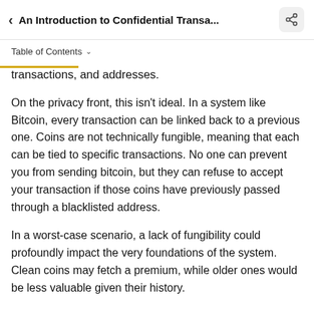< An Introduction to Confidential Transa...
Table of Contents ▾
transactions, and addresses.
On the privacy front, this isn't ideal. In a system like Bitcoin, every transaction can be linked back to a previous one. Coins are not technically fungible, meaning that each can be tied to specific transactions. No one can prevent you from sending bitcoin, but they can refuse to accept your transaction if those coins have previously passed through a blacklisted address.
In a worst-case scenario, a lack of fungibility could profoundly impact the very foundations of the system. Clean coins may fetch a premium, while older ones would be less valuable given their history.